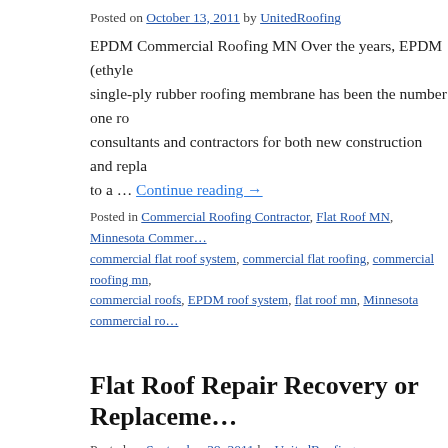Posted on October 13, 2011 by UnitedRoofing
EPDM Commercial Roofing MN Over the years, EPDM (ethyle… single-ply rubber roofing membrane has been the number one r… consultants and contractors for both new construction and repla… to a … Continue reading →
Posted in Commercial Roofing Contractor, Flat Roof MN, Minnesota Commer… commercial flat roof system, commercial flat roofing, commercial roofing mn, … commercial roofs, EPDM roof system, flat roof mn, Minnesota commercial ro…
Flat Roof Repair Recovery or Replaceme…
Posted on September 29, 2011 by UnitedRoofing
Roof Restoration Roof Restoration Systems provide building ov… lives of their existing roofs using a Liquid Elastomeric Coating.… spray equipment, squeegees and rollers, these sophisticated elas… Continue reading →
Posted in Commercial Roofing Contractor, Commercial Roofing MN, Condom… Townhome Roofing Contractor | Tagged commercial flat roof system, com…